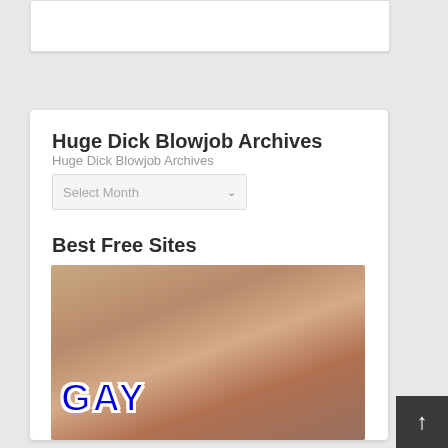Huge Dick Blowjob Archives
Huge Dick Blowjob Archives
Select Month
Best Free Sites
[Figure (photo): Adult content image with GAY text overlay in blue letters with white outline]